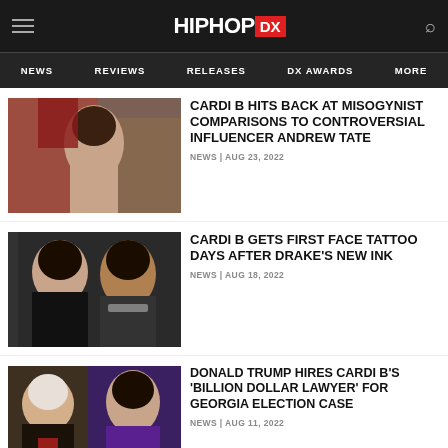HipHopDX — NEWS | REVIEWS | RELEASES | DX AWARDS | MORE
CARDI B HITS BACK AT MISOGYNIST COMPARISONS TO CONTROVERSIAL INFLUENCER ANDREW TATE
NEWS | AUG 23, 2022
CARDI B GETS FIRST FACE TATTOO DAYS AFTER DRAKE'S NEW INK
NEWS | AUG 18, 2022
DONALD TRUMP HIRES CARDI B'S 'BILLION DOLLAR LAWYER' FOR GEORGIA ELECTION CASE
NEWS | AUG 11, 2022
CARDI B & OFFSET SCHEME ON DREAM